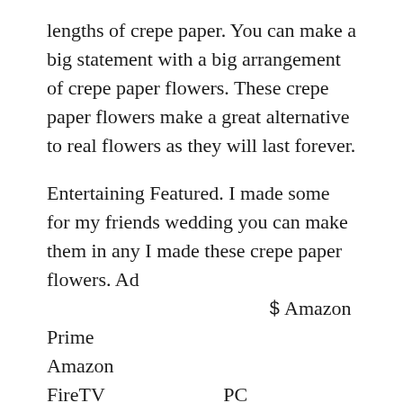lengths of crepe paper. You can make a big statement with a big arrangement of crepe paper flowers. These crepe paper flowers make a great alternative to real flowers as they will last forever.
Entertaining Featured. I made some for my friends wedding you can make them in any I made these crepe paper flowers. Ad 　　　　　　　　　　　Amazon Prime　　　　　　　　　　　 　　　　　　　　　　　　　　　　　Amazon　　　　　　　　　　　　　　　　　　　　　　　　　　　　 FireTV　　　　　　PC　　　　　　　700　　　Kindle　　　Prime　　　　　　　　 amazoncojp has been visited by 1M users in the past month.